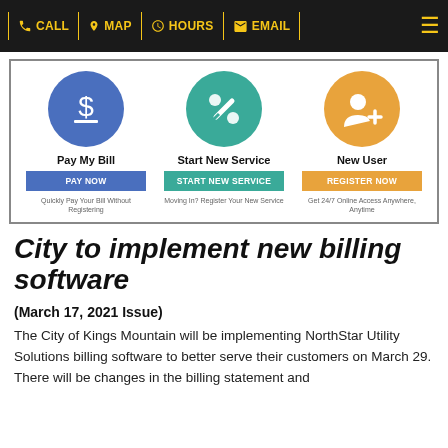CALL | MAP | HOURS | EMAIL
[Figure (screenshot): Utility billing portal screenshot with three options: Pay My Bill (blue circle with dollar sign, PAY NOW button), Start New Service (teal circle with wrench icon, START NEW SERVICE button), New User (orange circle with person+plus icon, REGISTER NOW button). Descriptions: Quickly Pay Your Bill Without Registering | Moving In? Register Your New Service | Get 24/7 Online Access Anywhere, Anytime.]
City to implement new billing software
(March 17, 2021 Issue)
The City of Kings Mountain will be implementing NorthStar Utility Solutions billing software to better serve their customers on March 29. There will be changes in the billing statement and